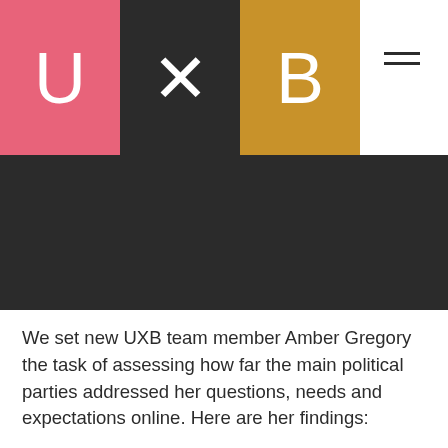[Figure (logo): UXB logo consisting of three colored boxes: pink box with U, black box with X, gold/amber box with B]
We set new UXB team member Amber Gregory the task of assessing how far the main political parties addressed her questions, needs and expectations online. Here are her findings:
As part of the younger demographic that politics tends to sideline, what are their websites doing